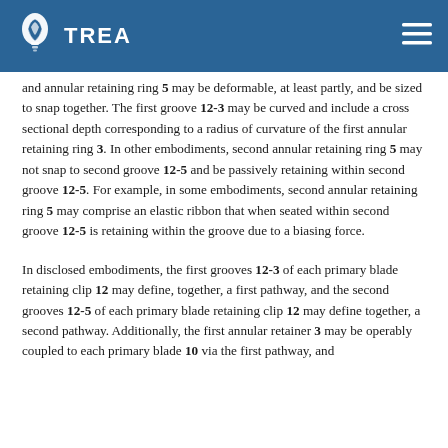TREA
and annular retaining ring 5 may be deformable, at least partly, and be sized to snap together. The first groove 12-3 may be curved and include a cross sectional depth corresponding to a radius of curvature of the first annular retaining ring 3. In other embodiments, second annular retaining ring 5 may not snap to second groove 12-5 and be passively retaining within second groove 12-5. For example, in some embodiments, second annular retaining ring 5 may comprise an elastic ribbon that when seated within second groove 12-5 is retaining within the groove due to a biasing force.
In disclosed embodiments, the first grooves 12-3 of each primary blade retaining clip 12 may define, together, a first pathway, and the second grooves 12-5 of each primary blade retaining clip 12 may define together, a second pathway. Additionally, the first annular retainer 3 may be operably coupled to each primary blade 10 via the first pathway, and